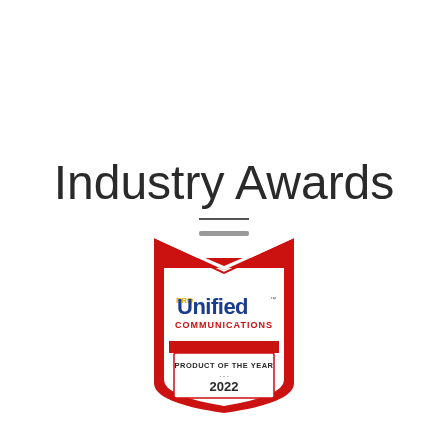Industry Awards
[Figure (logo): Unified Communications Product of the Year 2022 award badge. A red shield/badge shape with white interior panels. Top has a red envelope/chevron shape. Center shows 'Unified COMMUNICATIONS' logo in blue/yellow. Bottom panel reads 'PRODUCT OF THE YEAR 2022' in dark text on white.]